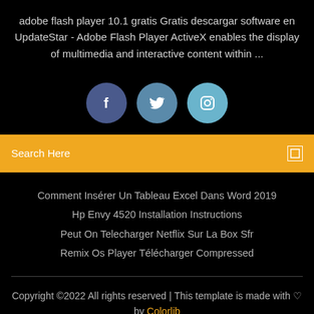adobe flash player 10.1 gratis Gratis descargar software en UpdateStar - Adobe Flash Player ActiveX enables the display of multimedia and interactive content within ...
[Figure (infographic): Three social media icons: Facebook (dark blue circle with 'f'), Twitter (medium blue circle with bird icon), Instagram (light blue circle with camera icon)]
Search Here
Comment Insérer Un Tableau Excel Dans Word 2019
Hp Envy 4520 Installation Instructions
Peut On Telecharger Netflix Sur La Box Sfr
Remix Os Player Télécharger Compressed
Copyright ©2022 All rights reserved | This template is made with ♡ by Colorlib